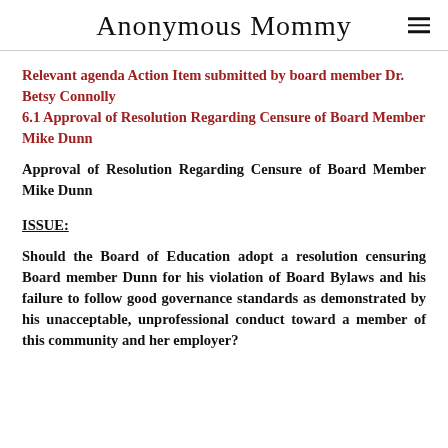Anonymous Mommy
Relevant agenda Action Item submitted by board member Dr. Betsy Connolly
6.1 Approval of Resolution Regarding Censure of Board Member Mike Dunn
Approval of Resolution Regarding Censure of Board Member Mike Dunn
ISSUE:
Should the Board of Education adopt a resolution censuring Board member Dunn for his violation of Board Bylaws and his failure to follow good governance standards as demonstrated by his unacceptable, unprofessional conduct toward a member of this community and her employer?